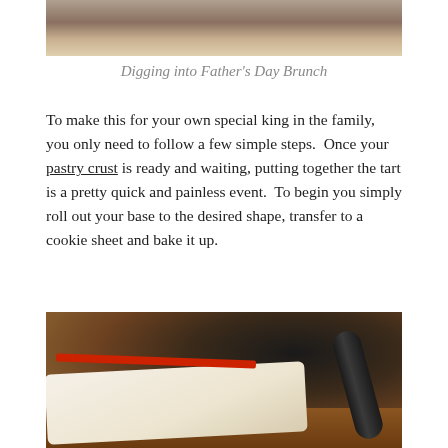[Figure (photo): Top portion of a photo showing people at a Father's Day brunch, partially cropped]
Digging into Father's Day Brunch
To make this for your own special king in the family, you only need to follow a few simple steps.  Once your pastry crust is ready and waiting, putting together the tart is a pretty quick and painless event.  To begin you simply roll out your base to the desired shape, transfer to a cookie sheet and bake it up.
[Figure (photo): Photo of pastry dough being rolled out on a wooden cutting board with a dark rolling pin and a red ruler/guide]